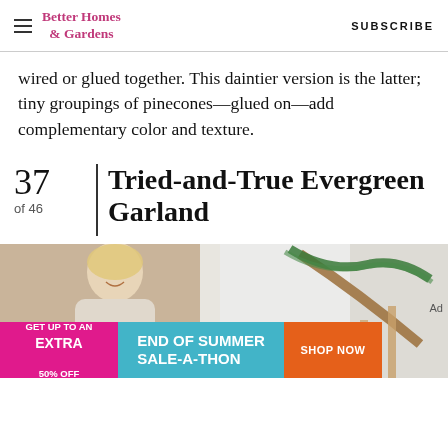Better Homes & Gardens | SUBSCRIBE
wired or glued together. This daintier version is the latter; tiny groupings of pinecones—glued on—add complementary color and texture.
37 of 46 | Tried-and-True Evergreen Garland
[Figure (photo): A woman with blonde hair wearing a turtleneck stands near a staircase decorated with evergreen garland draped along the wooden banister.]
GET UP TO AN EXTRA 50% OFF | END OF SUMMER SALE-A-THON | SHOP NOW